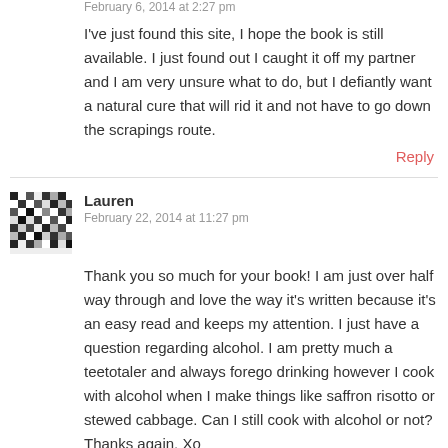February 6, 2014 at 2:27 pm
I've just found this site, I hope the book is still available. I just found out I caught it off my partner and I am very unsure what to do, but I defiantly want a natural cure that will rid it and not have to go down the scrapings route.
Reply
[Figure (illustration): Avatar/profile image placeholder with black and white mosaic checkerboard pattern]
Lauren
February 22, 2014 at 11:27 pm
Thank you so much for your book! I am just over half way through and love the way it's written because it's an easy read and keeps my attention. I just have a question regarding alcohol. I am pretty much a teetotaler and always forego drinking however I cook with alcohol when I make things like saffron risotto or stewed cabbage. Can I still cook with alcohol or not? Thanks again. Xo